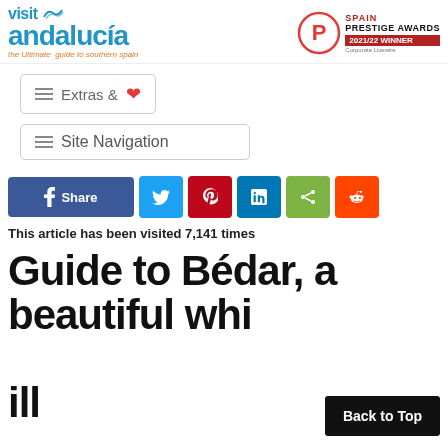[Figure (logo): Visit Andalucia logo with tagline 'the Ultimate guide to southern spain' in blue and orange]
[Figure (logo): Spain Prestige Awards 2021/22 Winner badge with Corporate Livewire and red P circle]
Extras & ♥
Site Navigation
[Figure (infographic): Social share buttons: Share (Facebook), Twitter, Pinterest, LinkedIn, Share, Reddit]
This article has been visited 7,141 times
Guide to Bédar, a beautiful whi...
Back to Top